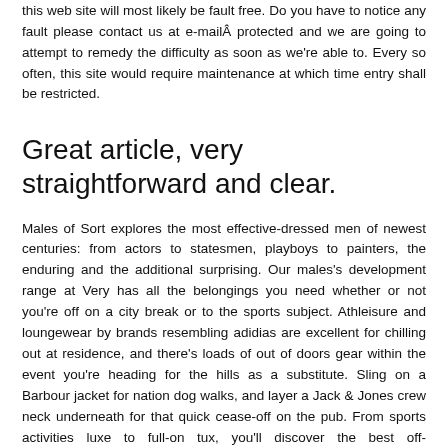candy spot between overdressed and underdressed. 3. Availability of the website online – We intention to produce the very best procuring experience but we make no promise that the usage of this web site will most likely be fault free. Do you have to notice any fault please contact us at e-mailÂ protected and we are going to attempt to remedy the difficulty as soon as we're able to. Every so often, this site would require maintenance at which time entry shall be restricted.
Great article, very straightforward and clear.
Males of Sort explores the most effective-dressed men of newest centuries: from actors to statesmen, playboys to painters, the enduring and the additional surprising. Our males's development range at Very has all the belongings you need whether or not you're off on a city break or to the sports subject. Athleisure and loungewear by brands resembling adidias are excellent for chilling out at residence, and there's loads of out of doors gear within the event you're heading for the hills as a substitute. Sling on a Barbour jacket for nation dog walks, and layer a Jack & Jones crew neck underneath for that quick cease-off on the pub. From sports activities luxe to full-on tux, you'll discover the best off-accountability outfit at Very.